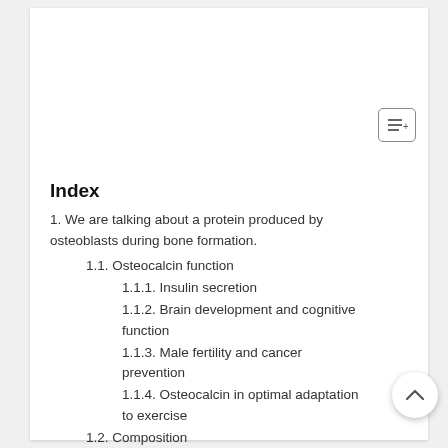Index
1. We are talking about a protein produced by osteoblasts during bone formation.
1.1. Osteocalcin function
1.1.1. Insulin secretion
1.1.2. Brain development and cognitive function
1.1.3. Male fertility and cancer prevention
1.1.4. Osteocalcin in optimal adaptation to exercise
1.2. Composition
1.3. Osteocalcin test
1.4. Reference values
1.5. Interpretation
1.6. Precautions
2. In rare cases, interference can occur due to extremely